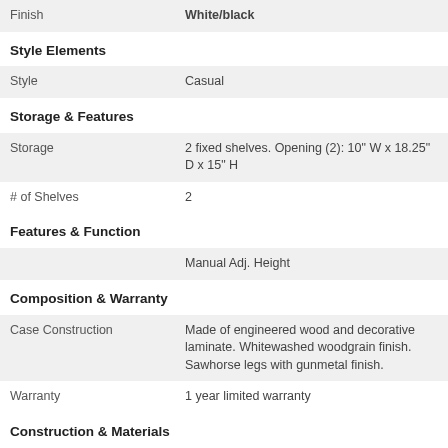| Finish | White/black |
| Style Elements |  |
| Style | Casual |
| Storage & Features |  |
| Storage | 2 fixed shelves. Opening (2): 10" W x 18.25" D x 15" H |
| # of Shelves | 2 |
| Features & Function |  |
|  | Manual Adj. Height |
| Composition & Warranty |  |
| Case Construction | Made of engineered wood and decorative laminate. Whitewashed woodgrain finish. Sawhorse legs with gunmetal finish. |
| Warranty | 1 year limited warranty |
| Construction & Materials |  |